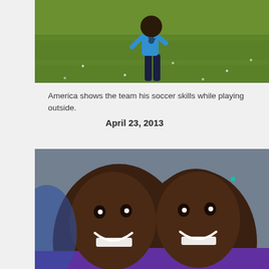[Figure (photo): Child in blue t-shirt with paw print logo running or playing soccer on a green grass field outdoors.]
America shows the team his soccer skills while playing outside.
April 23, 2013
[Figure (photo): Two smiling children in purple shirts leaning toward the camera, close-up portrait with a blurred background.]